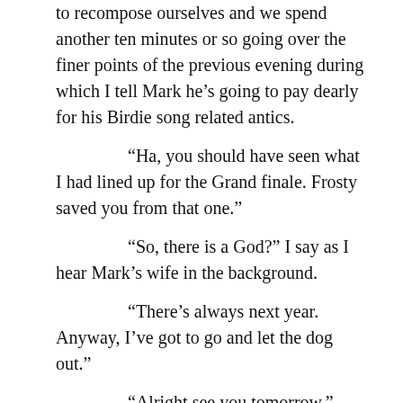to recompose ourselves and we spend another ten minutes or so going over the finer points of the previous evening during which I tell Mark he’s going to pay dearly for his Birdie song related antics.
“Ha, you should have seen what I had lined up for the Grand finale. Frosty saved you from that one.”
“So, there is a God?” I say as I hear Mark’s wife in the background.
“There’s always next year. Anyway, I’ve got to go and let the dog out.”
“Alright see you tomorrow.”
“Yeah, cheers.”
I look at my frozen TV screen and wonder whether I can be bothered to watch the end of my video. After some deliberation I flick the TV off and head for the bedroom. I’ve barely got settled between the sheets when my phone